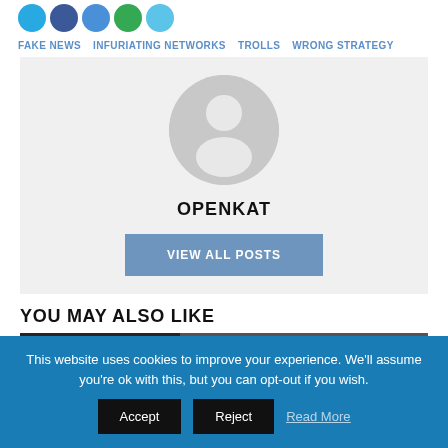FAKE NEWS  INFURIATING NETWORKS  TROLLS  WRONG STRATEGY
[Figure (illustration): Gray placeholder avatar/profile image — a generic person silhouette (head and shoulders) in a circular gray background]
OPENKAT
VIEW ALL POSTS
YOU MAY ALSO LIKE
[Figure (photo): Partial teaser image showing a dark background thumbnail]
This website uses cookies to improve your experience. We'll assume you're ok with this, but you can opt-out if you wish.
Accept  Reject  Read More